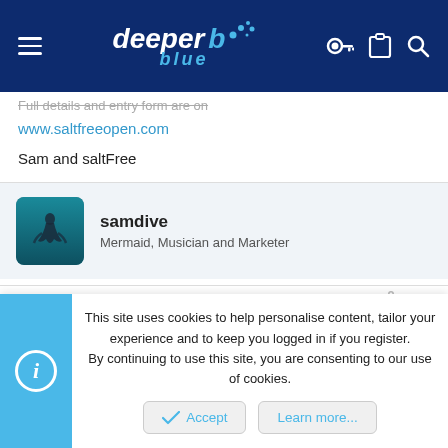deeper blue — navigation header
Full details and entry form are on
www.saltfreeopen.com
Sam and saltFree
samdive
Mermaid, Musician and Marketer
Mar 4, 2004   #15
March Meet
This site uses cookies to help personalise content, tailor your experience and to keep you logged in if you register.
By continuing to use this site, you are consenting to our use of cookies.